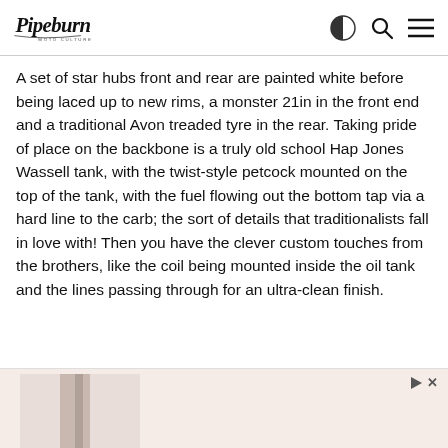Pipeburn Moto Culture
A set of star hubs front and rear are painted white before being laced up to new rims, a monster 21in in the front end and a traditional Avon treaded tyre in the rear. Taking pride of place on the backbone is a truly old school Hap Jones Wassell tank, with the twist-style petcock mounted on the top of the tank, with the fuel flowing out the bottom tap via a hard line to the carb; the sort of details that traditionalists fall in love with! Then you have the clever custom touches from the brothers, like the coil being mounted inside the oil tank and the lines passing through for an ultra-clean finish.
[Figure (photo): Advertisement banner with light pink/peach background at the bottom of the page, showing partial image content on the left side]